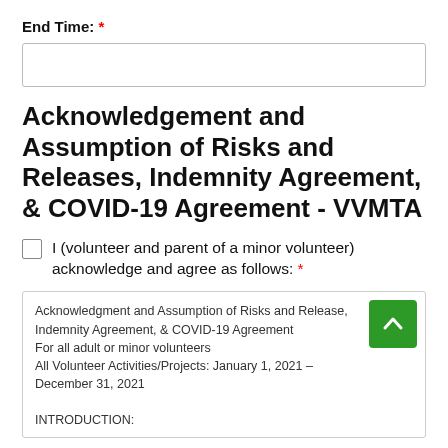End Time: *
Acknowledgement and Assumption of Risks and Releases, Indemnity Agreement, & COVID-19 Agreement - VVMTA
I (volunteer and parent of a minor volunteer) acknowledge and agree as follows: *
Acknowledgment and Assumption of Risks and Release, Indemnity Agreement, & COVID-19 Agreement
For all adult or minor volunteers
All Volunteer Activities/Projects: January 1, 2021 – December 31, 2021

INTRODUCTION: